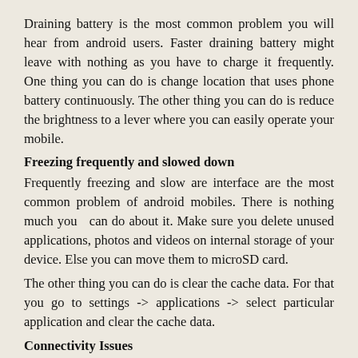Draining battery is the most common problem you will hear from android users. Faster draining battery might leave with nothing as you have to charge it frequently. One thing you can do is change location that uses phone battery continuously. The other thing you can do is reduce the brightness to a lever where you can easily operate your mobile.
Freezing frequently and slowed down
Frequently freezing and slow are interface are the most common problem of android mobiles. There is nothing much you  can do about it. Make sure you delete unused applications, photos and videos on internal storage of your device. Else you can move them to microSD card.
The other thing you can do is clear the cache data. For that you go to settings -> applications -> select particular application and clear the cache data.
Connectivity Issues
As an android mobile user you might have observed